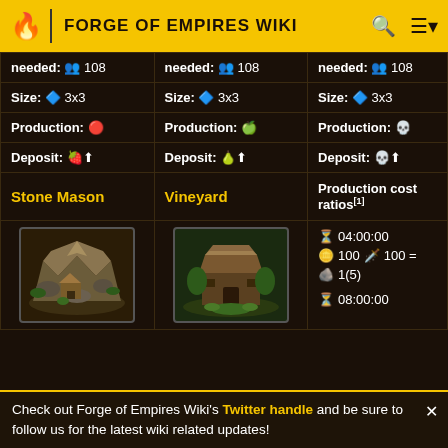FORGE OF EMPIRES WIKI
| Stone Mason col | Vineyard col | Production cost ratios col |
| --- | --- | --- |
| needed: 👥 108 | needed: 👥 108 | needed: 👥 108 |
| Size: 🔷 3x3 | Size: 🔷 3x3 | Size: 🔷 3x3 |
| Production: 🔴 | Production: 🍏 | Production: 💀 |
| Deposit: 🔴⬆ | Deposit: 🍏⬆ | Deposit: 💀⬆ |
| Stone Mason | Vineyard | Production cost ratios[1] |
| [building image] | [building image] | ⏳ 04:00:00
🪙 100 🪓 100 = 🪨 1(5)
⏳ 08:00:00 |
Check out Forge of Empires Wiki's Twitter handle and be sure to follow us for the latest wiki related updates!